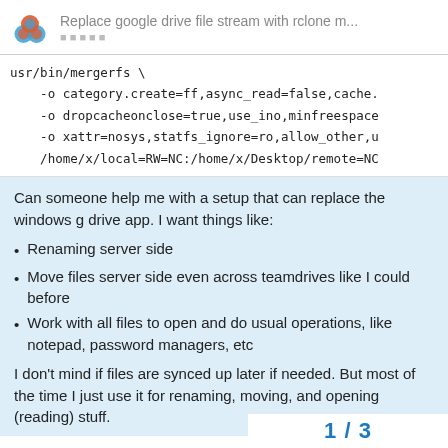Replace google drive file stream with rclone m...
usr/bin/mergerfs \
    -o category.create=ff,async_read=false,cache.
    -o dropcacheonclose=true,use_ino,minfreespace
    -o xattr=nosys,statfs_ignore=ro,allow_other,u
    /home/x/local=RW=NC:/home/x/Desktop/remote=NC
Can someone help me with a setup that can replace the windows g drive app. I want things like:
Renaming server side
Move files server side even across teamdrives like I could before
Work with all files to open and do usual operations, like notepad, password managers, etc
I don't mind if files are synced up later if needed. But most of the time I just use it for renaming, moving, and opening (reading) stuff.
1 / 3